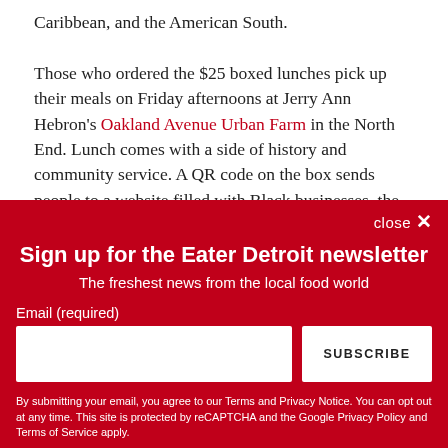Caribbean, and the American South.

Those who ordered the $25 boxed lunches pick up their meals on Friday afternoons at Jerry Ann Hebron's Oakland Avenue Urban Farm in the North End. Lunch comes with a side of history and community service. A QR code on the box sends people to a website filled with Black businesses, the stories behind the food served, and additional snippets
Sign up for the Eater Detroit newsletter
The freshest news from the local food world
Email (required)
By submitting your email, you agree to our Terms and Privacy Notice. You can opt out at any time. This site is protected by reCAPTCHA and the Google Privacy Policy and Terms of Service apply.